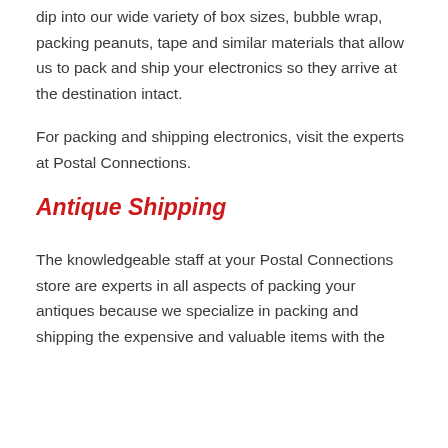dip into our wide variety of box sizes, bubble wrap, packing peanuts, tape and similar materials that allow us to pack and ship your electronics so they arrive at the destination intact.
For packing and shipping electronics, visit the experts at Postal Connections.
Antique Shipping
The knowledgeable staff at your Postal Connections store are experts in all aspects of packing your antiques because we specialize in packing and shipping the expensive and valuable items with the